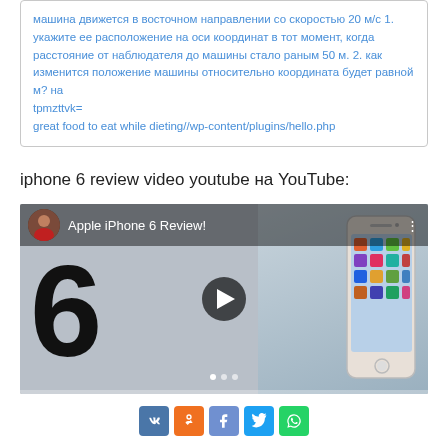машина движется в восточном направлении со скоростью 20 м/с 1. укажите ее расположение на оси координат в тот момент, когда расстояние от наблюдателя до машины стало раным 50 м. 2. как изменится положение машины относительно координата будет равной м? на
tpmzttvk=
great food to eat while dieting//wp-content/plugins/hello.php
iphone 6 review video youtube на YouTube:
[Figure (screenshot): YouTube video thumbnail for 'Apple iPhone 6 Review!' with a play button overlay, showing a large number 6 on the left and an iPhone being held on the right.]
[Figure (other): Social sharing buttons row: VK, OK, Facebook, Twitter, WhatsApp]